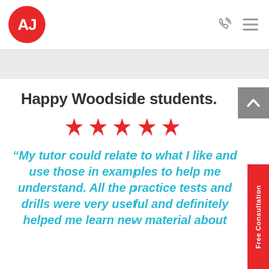[Figure (logo): AJ tutoring logo — white letters AJ in a red circle]
[Figure (infographic): Phone/call icon and hamburger menu icon in gray, top right of header]
Happy Woodside students.
[Figure (infographic): Five red star rating icons in a row]
“My tutor could relate to what I like and use those in examples to help me understand. All the practice tests and drills were very useful and definitely helped me learn new material about
[Figure (infographic): Gray scroll-up arrow button on the right side]
Free Consultation